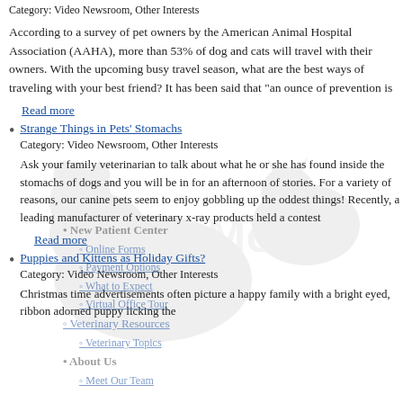Category: Video Newsroom, Other Interests
According to a survey of pet owners by the American Animal Hospital Association (AAHA), more than 53% of dog and cats will travel with their owners. With the upcoming busy travel season, what are the best ways of traveling with your best friend? It has been said that "an ounce of prevention is
Read more
Strange Things in Pets' Stomachs
Category: Video Newsroom, Other Interests
Ask your family veterinarian to talk about what he or she has found inside the stomachs of dogs and you will be in for an afternoon of stories. For a variety of reasons, our canine pets seem to enjoy gobbling up the oddest things! Recently, a leading manufacturer of veterinary x-ray products held a contest
Read more
Puppies and Kittens as Holiday Gifts?
Category: Video Newsroom, Other Interests
Christmas time advertisements often picture a happy family with a bright eyed, ribbon adorned puppy licking the